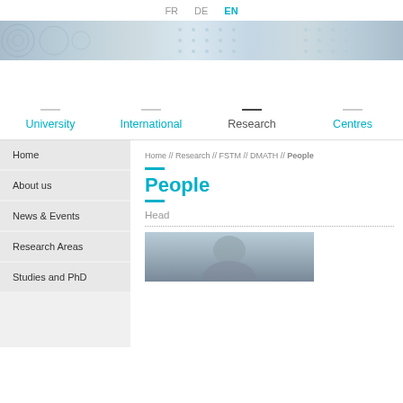FR  DE  EN
[Figure (photo): University website hero banner with abstract blue dot and circle pattern]
University  International  Research  Centres
Home
About us
News & Events
Research Areas
Studies and PhD
Home // Research // FSTM // DMATH // People
People
Head
[Figure (photo): Portrait photo of a person (head of DMATH department), partially visible]